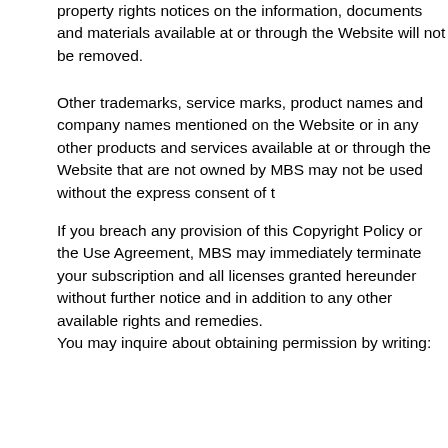property rights notices on the information, documents and materials available at or through the Website will not be removed.
Other trademarks, service marks, product names and company names mentioned on the Website or in any other products and services available at or through the Website that are not owned by MBS may not be used without the express consent of the respective owners.
If you breach any provision of this Copyright Policy or the Use Agreement, MBS may immediately terminate your subscription and all licenses granted hereunder without further notice and in addition to any other available rights and remedies.
Additionally, unless otherwise expressly permitted by MBS or in this Copyright Policy or the Use Agreement, websites may not link, whether by hyperlink or otherwise, to any page other than the homepage of the Website, or frame the Website, or any web page of the Website. Nor may any entity include a link to any aspect of the Website in an email or other communication without the express written permission of MBS or as otherwise permitted in this Copyright Policy or in the Use Agreement. Further, unless otherwise expressly permitted by MBS or as otherwise permitted in this Copyright Policy or in the Use Agreement, you may not use or exploit MBS's intellectual property so as to cause you or anyone else to access MBS's intellectual property other than through the Website.
You may inquire about obtaining permission by writing: